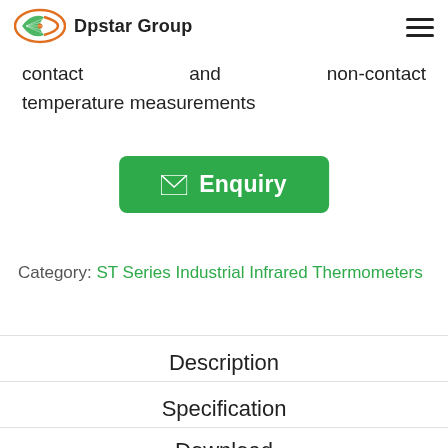Dpstar Group
contact and non-contact temperature measurements
[Figure (other): Green Enquiry button with envelope icon]
Category: ST Series Industrial Infrared Thermometers
Description
Specification
Download